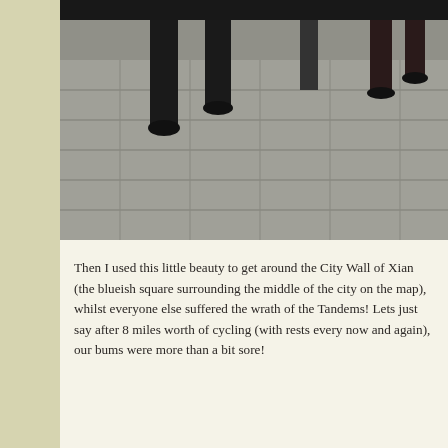[Figure (photo): Cropped photo showing legs/feet of people on a stone paved surface, partially visible, cut off at top]
Then I used this little beauty to get around the City Wall of Xian (the blueish square surrounding the middle of the city on the map), whilst everyone else suffered the wrath of the Tandems! Lets just say after 8 miles worth of cycling (with rests every now and again), our bums were more than a bit sore!
[Figure (photo): Photo of a white bicycle parked on a stone paved area along the City Wall of Xian, with stone pillars and wall structures visible in the background]